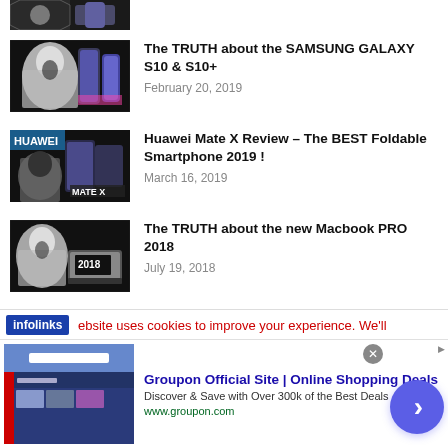[Figure (photo): Partially visible thumbnail at top - anonymous mask and phone]
[Figure (photo): Thumbnail showing anonymous mask next to Samsung Galaxy S10 phones]
The TRUTH about the SAMSUNG GALAXY S10 & S10+
February 20, 2019
[Figure (photo): Thumbnail showing HUAWEI and person holding Mate X foldable phone with MATE X text]
Huawei Mate X Review – The BEST Foldable Smartphone 2019 !
March 16, 2019
[Figure (photo): Thumbnail showing anonymous mask next to 2018 Macbook Pro laptop]
The TRUTH about the new Macbook PRO 2018
July 19, 2018
Load more >
infolinks  ebsite uses cookies to improve your experience. We'll
Groupon Official Site | Online Shopping Deals
Discover & Save with Over 300k of the Best Deals
www.groupon.com